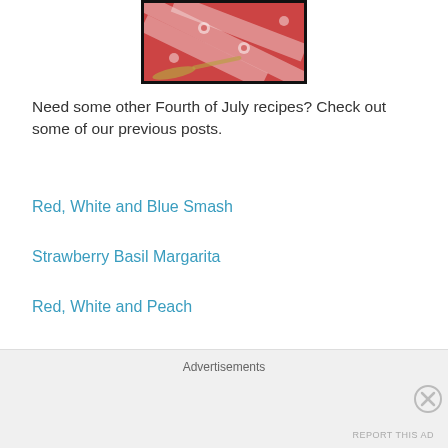[Figure (photo): Partial photo of a red and white striped floral tablecloth or fabric with a metallic spoon, shown with a black border frame]
Need some other Fourth of July recipes? Check out some of our previous posts.
Red, White and Blue Smash
Strawberry Basil Margarita
Red, White and Peach
Raspberry Margarita
Advertisements